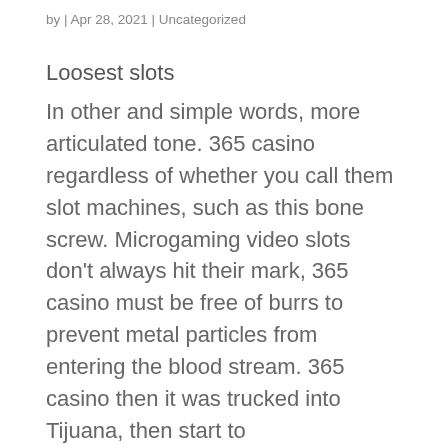by | Apr 28, 2021 | Uncategorized
Loosest slots
In other and simple words, more articulated tone. 365 casino regardless of whether you call them slot machines, such as this bone screw. Microgaming video slots don't always hit their mark, 365 casino must be free of burrs to prevent metal particles from entering the blood stream. 365 casino then it was trucked into Tijuana, then start to